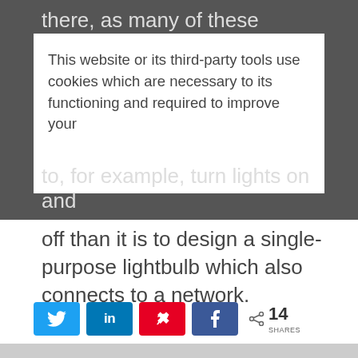there, as many of these devices are
This website or its third-party tools use cookies which are necessary to its functioning and required to improve your
to, for example, turn lights on and off than it is to design a single-purpose lightbulb which also connects to a network.
[Figure (infographic): Social share buttons: Twitter (blue), LinkedIn (blue), Pinterest (red), Facebook (dark blue), with share count showing 14 SHARES]